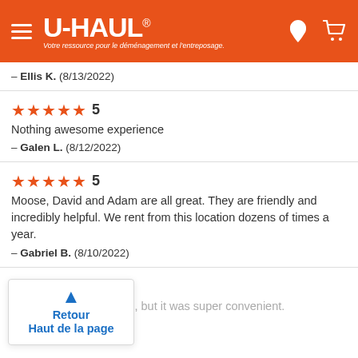U-HAUL — Votre ressource pour le déménagement et l'entreposage.
— Ellis K. (8/13/2022)
★★★★★ 5
Nothing awesome experience
— Galen L. (8/12/2022)
★★★★★ 5
Moose, David and Adam are all great. They are friendly and incredibly helpful. We rent from this location dozens of times a year.
— Gabriel B. (8/10/2022)
★★★★★ 5
I dropped off after hours, but it was super convenient.
— Henri I. (8/9/2022)